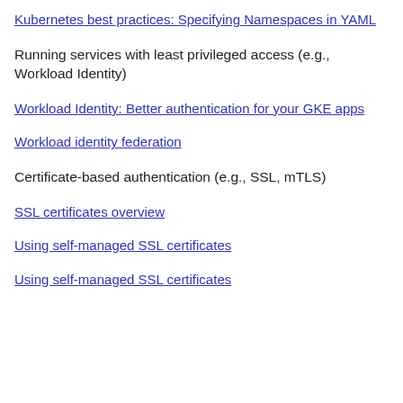Kubernetes best practices: Specifying Namespaces in YAML
Running services with least privileged access (e.g., Workload Identity)
Workload Identity: Better authentication for your GKE apps
Workload identity federation
Certificate-based authentication (e.g., SSL, mTLS)
SSL certificates overview
Using self-managed SSL certificates
Using self-managed SSL certificates